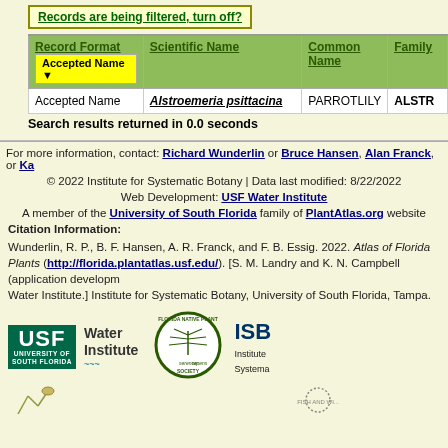Records are being filtered, turn off?
| Record Format | Scientific Name | Common Name | Family |
| --- | --- | --- | --- |
| Accepted Name | Alstroemeria psittacina | PARROTLILY | ALSTR... |
Search results returned in 0.0 seconds
For more information, contact: Richard Wunderlin or Bruce Hansen, Alan Franck, or Ka...
© 2022 Institute for Systematic Botany | Data last modified: 8/22/2022
Web Development: USF Water Institute
A member of the University of South Florida family of PlantAtlas.org website...
Citation Information:
Wunderlin, R. P., B. F. Hansen, A. R. Franck, and F. B. Essig. 2022. Atlas of Florida Plants (http://florida.plantatlas.usf.edu/). [S. M. Landry and K. N. Campbell (application development), USF Water Institute.] Institute for Systematic Botany, University of South Florida, Tampa.
[Figure (logo): USF Water Institute logo, Florida Native Plant Society circular logo with serenoa repens palm, ISB Institute for Systematic Botany logo]